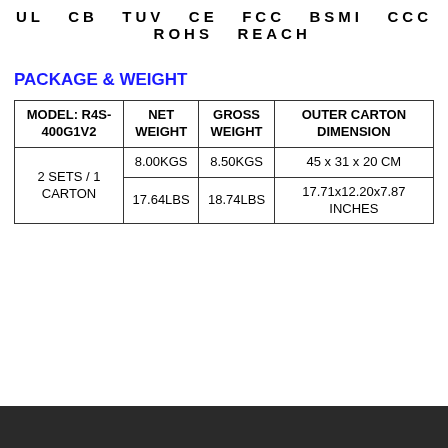UL  CB  TUV  CE  FCC  BSMI  CCC  ROHS  REACH
PACKAGE & WEIGHT
| MODEL: R4S-400G1V2 | NET WEIGHT | GROSS WEIGHT | OUTER CARTON DIMENSION |
| --- | --- | --- | --- |
| 2 SETS / 1 CARTON | 8.00KGS | 8.50KGS | 45 x 31 x 20 CM |
| 2 SETS / 1 CARTON | 17.64LBS | 18.74LBS | 17.71x12.20x7.87 INCHES |